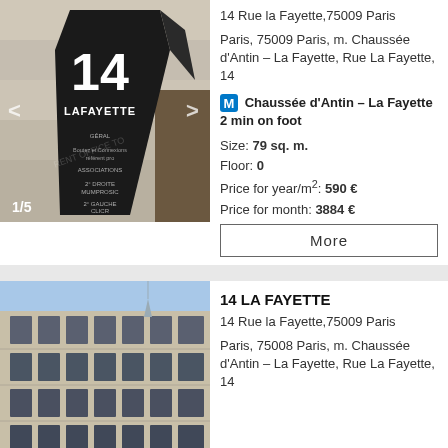[Figure (photo): Photo of a building entrance with a black sign showing '14 LAFAYETTE', image counter '1/5' in bottom left, left and right navigation arrows visible]
14 Rue la Fayette,75009 Paris
Paris, 75009 Paris, m. Chaussée d'Antin – La Fayette, Rue La Fayette, 14
Chaussée d'Antin – La Fayette 2 min on foot
Size: 79 sq. m.
Floor: 0
Price for year/m²: 590 €
Price for month: 3884 €
More
[Figure (photo): Photo of a classical Haussmann-style building facade with multiple floors of windows, blue sky in background]
14 LA FAYETTE
14 Rue la Fayette,75009 Paris
Paris, 75008 Paris, m. Chaussée d'Antin – La Fayette, Rue La Fayette, 14